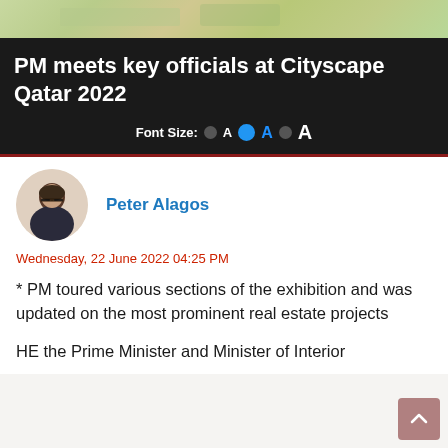[Figure (photo): Aerial map strip showing green/tan terrain at the top of the page]
PM meets key officials at Cityscape Qatar 2022
Font Size:  A  A  A
[Figure (photo): Circular profile photo of Peter Alagos, a man wearing glasses and a dark jacket]
Peter Alagos
Wednesday, 22 June 2022 04:25 PM
* PM toured various sections of the exhibition and was updated on the most prominent real estate projects
HE the Prime Minister and Minister of Interior